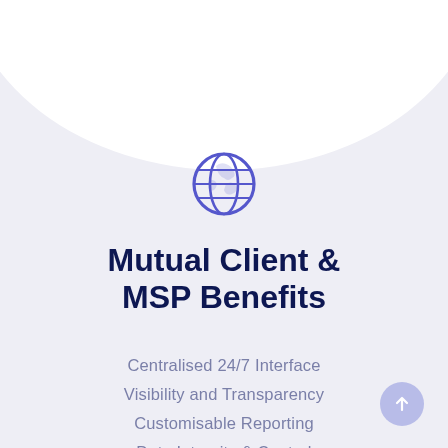[Figure (illustration): Globe/world icon in medium blue outline style, centered on page]
Mutual Client & MSP Benefits
Centralised 24/7 Interface
Visibility and Transparency
Customisable Reporting
Data Integrity & Control